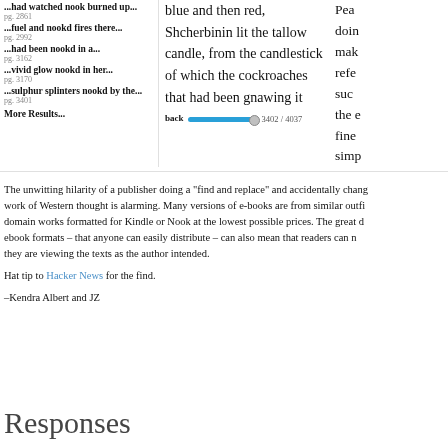...had watched nook burned up... pg. 2861
...fuel and nookd fires there... pg. 2992
...had been nookd in a... pg. 3162
...vivid glow nookd in her... pg. 3170
...sulphur splinters nookd by the... pg. 3401
More Results...
blue and then red, Shcherbinin lit the tallow candle, from the candlestick of which the cockroaches that had been gnawing it
back 3402 / 4037
The unwitting hilarity of a publisher doing a "find and replace" and accidentally chang... work of Western thought is alarming. Many versions of e-books are from similar outfi... domain works formatted for Kindle or Nook at the lowest possible prices. The great d... ebook formats – that anyone can easily distribute – can also mean that readers can n... they are viewing the texts as the author intended.
Hat tip to Hacker News for the find.
–Kendra Albert and JZ
Responses